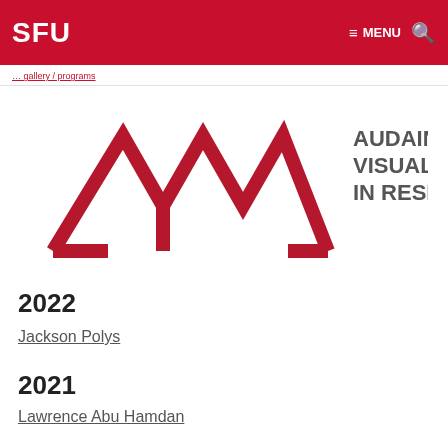SFU   ≡ MENU 🔍
[Figure (logo): Audain Visual Artist in Residence logo: stylized AVA letter mark in dark red/crimson with geometric mountain shapes, beside the text 'AUDAIN VISUAL ARTIST IN RESIDENCE' in dark gray]
2022
Jackson Polys
2021
Lawrence Abu Hamdan